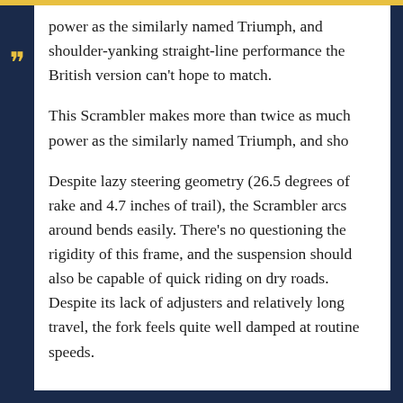power as the similarly named Triumph, and shoulder-yanking straight-line performance the British version can't hope to match.
This Scrambler makes more than twice as much power as the similarly named Triumph, and sho
Despite lazy steering geometry (26.5 degrees of rake and 4.7 inches of trail), the Scrambler arcs around bends easily. There's no questioning the rigidity of this frame, and the suspension should also be capable of quick riding on dry roads. Despite its lack of adjusters and relatively long travel, the fork feels quite well damped at routine speeds.